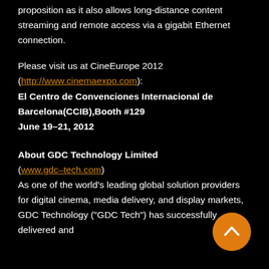proposition as it also allows long-distance content streaming and remote access via a gigabit Ethernet connection.
Please visit us at CineEurope 2012 (http://www.cinemaexpo.com):
El Centro de Convenciones Internacional de Barcelona(CCIB),Booth #129
June 19–21, 2012
About GDC Technology Limited
(www.gdc–tech.com)
As one of the world's leading global solution providers for digital cinema, media delivery, and display markets, GDC Technology ("GDC Tech") has successfully delivered and